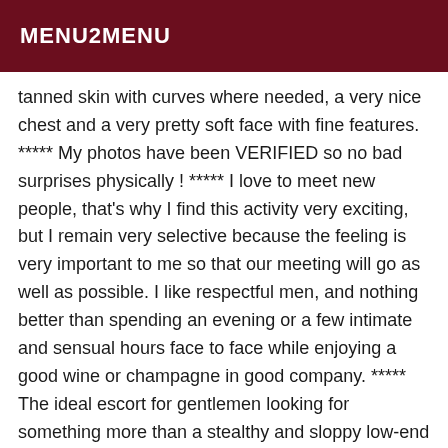MENU2MENU
tanned skin with curves where needed, a very nice chest and a very pretty soft face with fine features. ***** My photos have been VERIFIED so no bad surprises physically ! ***** I love to meet new people, that's why I find this activity very exciting, but I remain very selective because the feeling is very important to me so that our meeting will go as well as possible. I like respectful men, and nothing better than spending an evening or a few intimate and sensual hours face to face while enjoying a good wine or champagne in good company. ***** The ideal escort for gentlemen looking for something more than a stealthy and sloppy low-end date and who prefer to spend a few hours of sensuality and relaxation in the company of a naughty, pretty but also educated tranny. Being very selective, I don't meet many people, so I prefer long meetings because nothing better than taking one's time for a real relaxing atmosphere. I wait for you